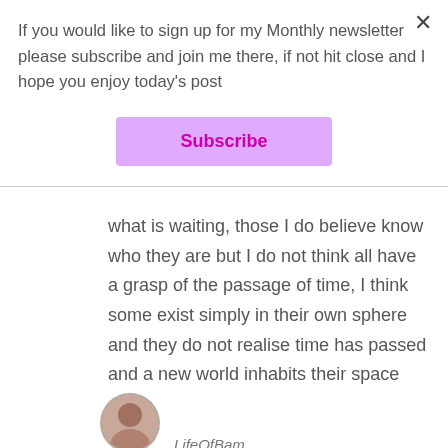If you would like to sign up for my Monthly newsletter please subscribe and join me there, if not hit close and I hope you enjoy today's post
Subscribe
what is waiting, those I do believe know who they are but I do not think all have a grasp of the passage of time, I think some exist simply in their own sphere and they do not realise time has passed and a new world inhabits their space
Like
LifeOfBam